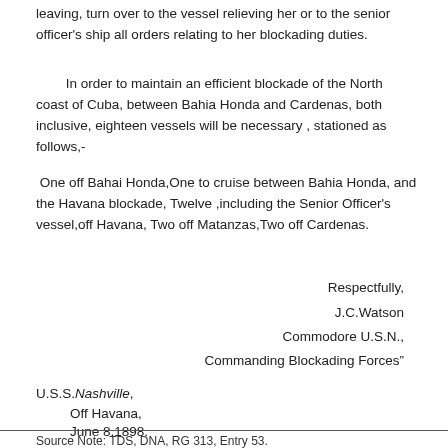leaving, turn over to the vessel relieving her or to the senior officer's ship all orders relating to her blockading duties.
In order to maintain an efficient blockade of the North coast of Cuba, between Bahia Honda and Cardenas, both inclusive, eighteen vessels will be necessary , stationed as follows,-
One off Bahai Honda,One to cruise between Bahia Honda, and the Havana blockade, Twelve ,including the Senior Officer's vessel,off Havana, Two off Matanzas,Two off Cardenas.
Respectfully,
J.C.Watson
Commodore U.S.N.,
Commanding Blockading Forces"
U.S.S.Nashville,
Off Havana,
June 8,1898.
Source Note: TDS, DNA, RG 313, Entry 53.